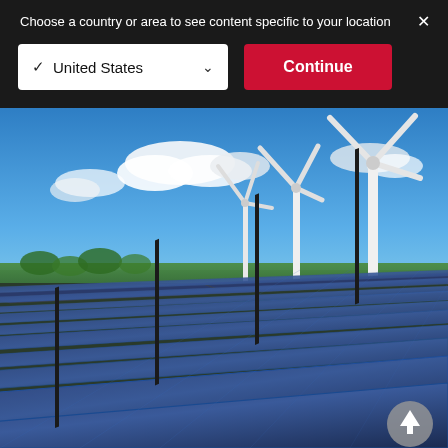Choose a country or area to see content specific to your location
✓ United States
Continue
[Figure (photo): Solar panel farm in the foreground with three large wind turbines in the background under a blue sky with white clouds, green vegetation and sea visible on the horizon.]